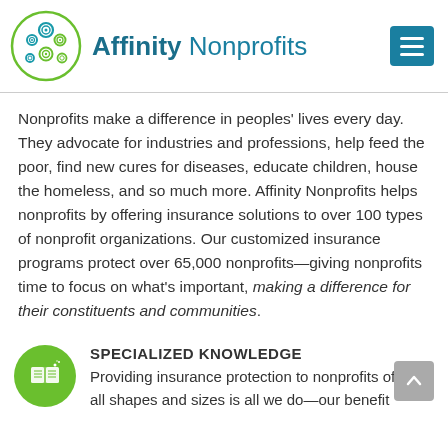[Figure (logo): Affinity Nonprofits logo with green circular swirl icon and teal text]
Nonprofits make a difference in peoples' lives every day. They advocate for industries and professions, help feed the poor, find new cures for diseases, educate children, house the homeless, and so much more. Affinity Nonprofits helps nonprofits by offering insurance solutions to over 100 types of nonprofit organizations. Our customized insurance programs protect over 65,000 nonprofits—giving nonprofits time to focus on what's important, making a difference for their constituents and communities.
SPECIALIZED KNOWLEDGE
Providing insurance protection to nonprofits of all shapes and sizes is all we do—our benefit